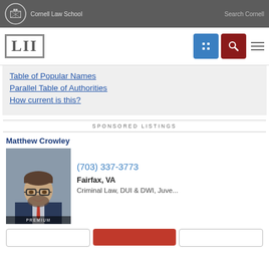Cornell Law School | Search Cornell
[Figure (logo): LII Legal Information Institute logo with Cornell Law School branding and navigation icons]
Table of Popular Names
Parallel Table of Authorities
How current is this?
SPONSORED LISTINGS
Matthew Crowley
[Figure (photo): Professional headshot of Matthew Crowley, a man with glasses, beard, wearing a suit and red tie. PREMIUM badge at bottom.]
(703) 337-3773
Fairfax, VA
Criminal Law, DUI & DWI, Juve...